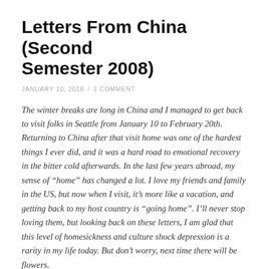Letters From China (Second Semester 2008)
JANUARY 10, 2018  /  1 COMMENT
The winter breaks are long in China and I managed to get back to visit folks in Seattle from January 10 to February 20th. Returning to China after that visit home was one of the hardest things I ever did, and it was a hard road to emotional recovery in the bitter cold afterwards. In the last few years abroad, my sense of “home” has changed a lot. I love my friends and family in the US, but now when I visit, it’s more like a vacation, and getting back to my host country is “going home”. I’ll never stop loving them, but looking back on these letters, I am glad that this level of homesickness and culture shock depression is a rarity in my life today. But don’t worry, next time there will be flowers.